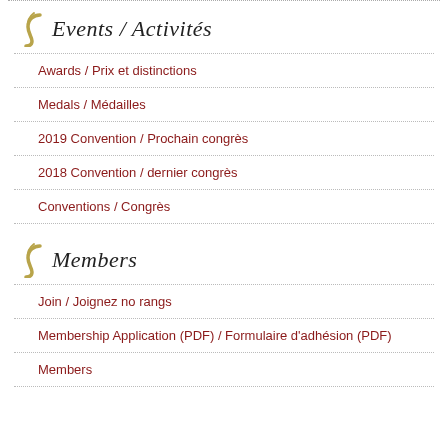Events / Activités
Awards / Prix et distinctions
Medals / Médailles
2019 Convention / Prochain congrès
2018 Convention / dernier congrès
Conventions / Congrès
Members
Join / Joignez no rangs
Membership Application (PDF) / Formulaire d'adhésion (PDF)
Members